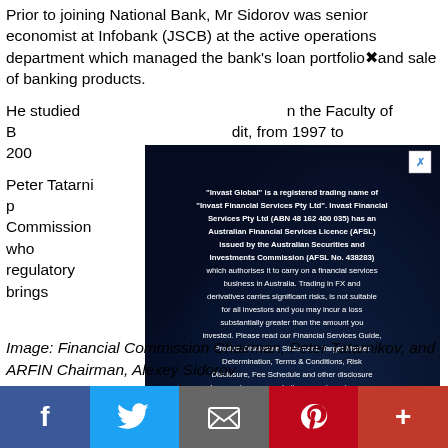Prior to joining National Bank, Mr Sidorov was senior economist at Infobank (JSCB) at the active operations department which managed the bank's loan portfolio and sale of banking products.
He studied [obscured by popup] the Faculty of B[obscured] dit, from 1997 to 200[obscured].
Peter Tatar[obscured] are extremely p[obscured] nancial Commission[obscured] proven leader who[obscured] mental regulatory [obscured] ations, and also brings [obscured] r as an economist.
[Figure (screenshot): Popup overlay with dark blue gradient background showing Invast Global disclaimer text: '"Invast Global" is a registered trading name of "Invast Financial Services Pty Ltd". Invast Financial Services Pty Ltd (ABN 48 162 400 035) has an Australian Financial Services Licence (AFSL) issued by the Australian Securities and Investments Commission (AFSL No. 438283) which authorises it to carry on a financial services business in Australia. Trading in FX and derivatives carries significant risks, is not suitable for all investors and you may incur a loss substantially greater than the amount you invested. Please read our Financial Services Guide, Product Disclosure Statement, Target Market Determination, Terms & Conditions, Risk Disclosure, Fee Schedule and other disclosure documents on our website – www.invast.com.au. Fees, charges, brokerage and commissions apply, refer to our Fee Schedule for further details.' with a close button in top-right corner.]
Image: Financial Commission Chairman, Peter Tatarnikov, and ARFIN Chairman, Alexey Sidorov
Social sharing buttons: Facebook, Twitter, Email, Pinterest, More